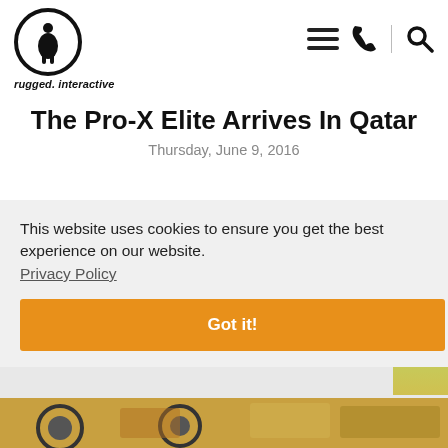rugged. interactive
The Pro-X Elite Arrives In Qatar
Thursday, June 9, 2016
This website uses cookies to ensure you get the best experience on our website.
Privacy Policy
Got it!
[Figure (photo): Partial view of product image at bottom of page]